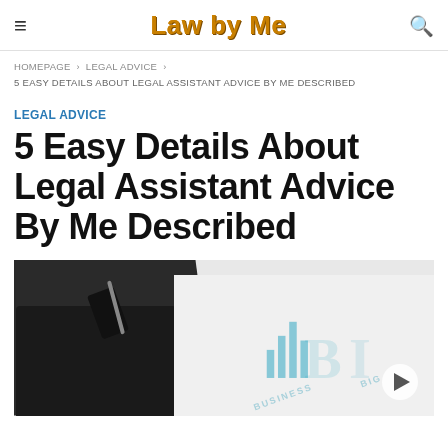Law by Me
HOMEPAGE › LEGAL ADVICE › 5 EASY DETAILS ABOUT LEGAL ASSISTANT ADVICE BY ME DESCRIBED
LEGAL ADVICE
5 Easy Details About Legal Assistant Advice By Me Described
[Figure (photo): Person in dark clothing with a phone and pen on a desk, alongside another person's hand on business documents with charts and text]